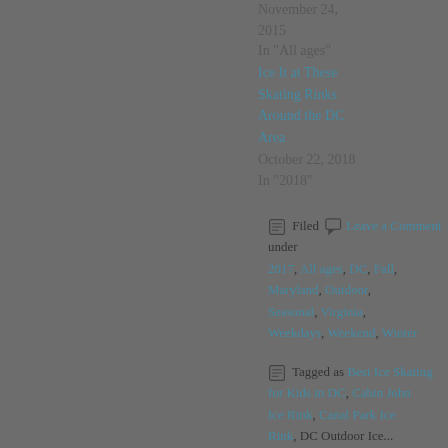November 24, 2015
In "All ages"
Ice It at These Skating Rinks Around the DC Area
October 22, 2018
In "2018"
Filed  Leave a Comment
under
2017, All ages, DC, Fall, Maryland, Outdoor, Seasonal, Virginia, Weekdays, Weekend, Winter
Tagged as Best Ice Skating for Kids in DC, Cabin John Ice Rink, Canal Park Ice Rink, DC Outdoor Ice...